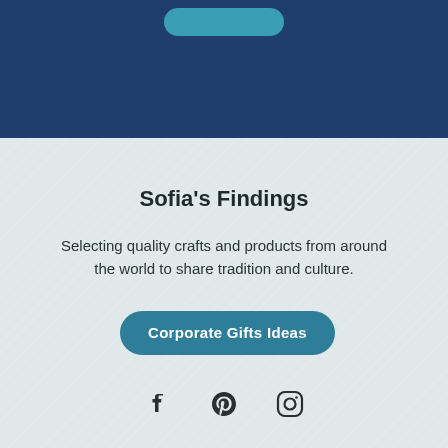[Figure (other): Teal rounded-rectangle button at top on dark blue background (partial, text partly cut off at top)]
Sofia's Findings
Selecting quality crafts and products from around the world to share tradition and culture.
Corporate Gifts Ideas
[Figure (other): Social media icons: Facebook, Pinterest, Instagram]